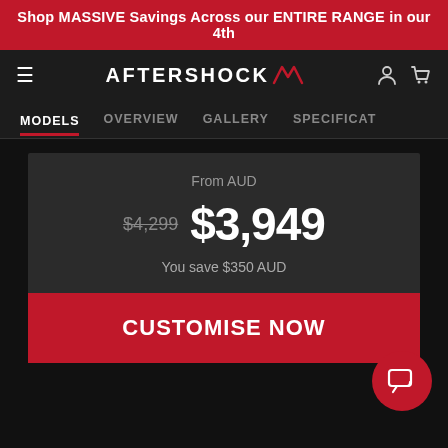Shop MASSIVE Savings Across our ENTIRE RANGE in our 4th
[Figure (screenshot): Aftershock PC logo with stylized A icon in red]
MODELS | OVERVIEW | GALLERY | SPECIFICAT
From AUD
$4,299 $3,949
You save $350 AUD
CUSTOMISE NOW